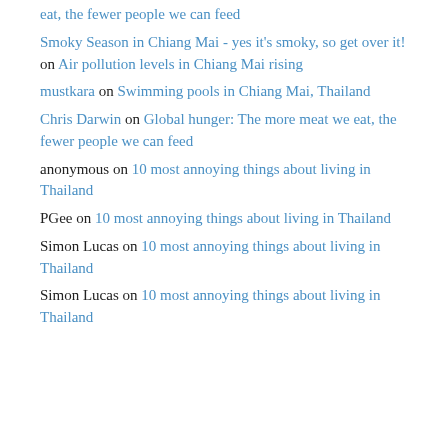eat, the fewer people we can feed
Smoky Season in Chiang Mai - yes it's smoky, so get over it! on Air pollution levels in Chiang Mai rising
mustkara on Swimming pools in Chiang Mai, Thailand
Chris Darwin on Global hunger: The more meat we eat, the fewer people we can feed
anonymous on 10 most annoying things about living in Thailand
PGee on 10 most annoying things about living in Thailand
Simon Lucas on 10 most annoying things about living in Thailand
Simon Lucas on 10 most annoying things about living in Thailand